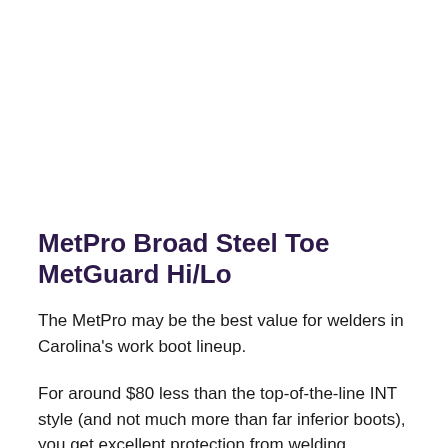MetPro Broad Steel Toe MetGuard Hi/Lo
The MetPro may be the best value for welders in Carolina's work boot lineup.
For around $80 less than the top-of-the-line INT style (and not much more than far inferior boots), you get excellent protection from welding hazards with a steel toe and shank, a padded metguard,